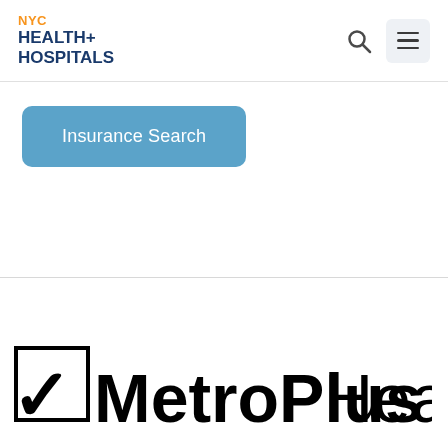NYC HEALTH+ HOSPITALS
Insurance Search
[Figure (logo): MetroPlusHealth logo with checkmark in a box followed by bold MetroPlus and regular Health text]